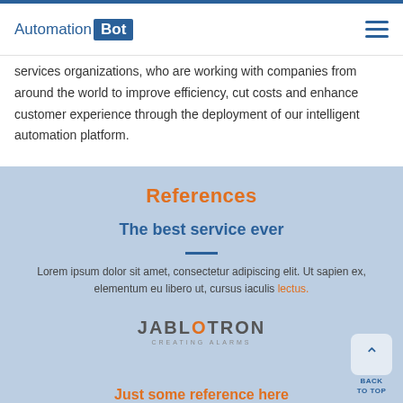AutomationBot
services organizations, who are working with companies from around the world to improve efficiency, cut costs and enhance customer experience through the deployment of our intelligent automation platform.
References
The best service ever
Lorem ipsum dolor sit amet, consectetur adipiscing elit. Ut sapien ex, elementum eu libero ut, cursus iaculis lectus.
[Figure (logo): JABLOTRON logo with tagline CREATING ALARMS]
Just some reference here